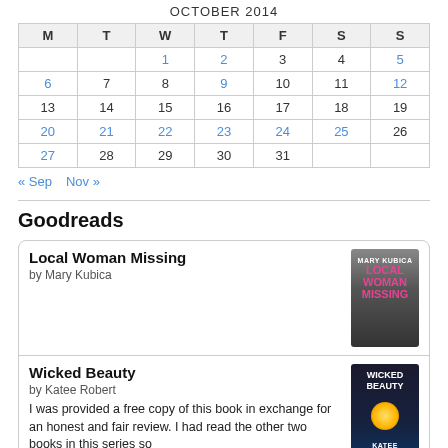OCTOBER 2014
| M | T | W | T | F | S | S |
| --- | --- | --- | --- | --- | --- | --- |
|  |  | 1 | 2 | 3 | 4 | 5 |
| 6 | 7 | 8 | 9 | 10 | 11 | 12 |
| 13 | 14 | 15 | 16 | 17 | 18 | 19 |
| 20 | 21 | 22 | 23 | 24 | 25 | 26 |
| 27 | 28 | 29 | 30 | 31 |  |  |
« Sep   Nov »
Goodreads
Local Woman Missing
by Mary Kubica
Wicked Beauty
by Katee Robert
I was provided a free copy of this book in exchange for an honest and fair review. I had read the other two books in this series so